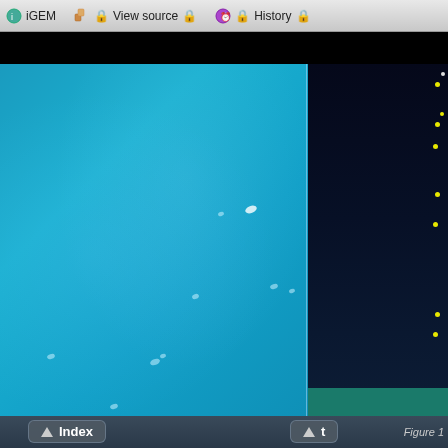iGEM  🔒 View source 🔒  🕐 🔒 History 🔒
[Figure (photo): Fluorescence microscopy image split into two panels: left panel shows a blue/cyan background with scattered small bright blobs (cells or particles) visible under microscopy; right panel shows a dark navy background with scattered small yellow/green fluorescent dots arranged vertically along the right edge.]
Figure 1